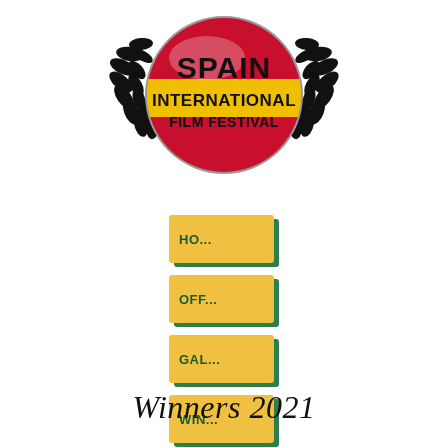[Figure (logo): Spain International Film Festival logo: circular badge with Spanish flag colors (red, yellow, red stripes) and text 'SPAIN INTERNATIONAL FILM FESTIVAL' in bold black, flanked by black laurel wreaths on either side.]
HO...
OFF...
GAL...
WIN...
Winners 2021